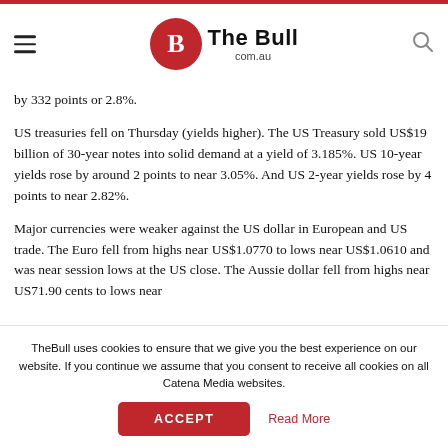The Bull com.au
by 332 points or 2.8%.
US treasuries fell on Thursday (yields higher). The US Treasury sold US$19 billion of 30-year notes into solid demand at a yield of 3.185%. US 10-year yields rose by around 2 points to near 3.05%. And US 2-year yields rose by 4 points to near 2.82%.
Major currencies were weaker against the US dollar in European and US trade. The Euro fell from highs near US$1.0770 to lows near US$1.0610 and was near session lows at the US close. The Aussie dollar fell from highs near US71.90 cents to lows near
TheBull uses cookies to ensure that we give you the best experience on our website. If you continue we assume that you consent to receive all cookies on all Catena Media websites.